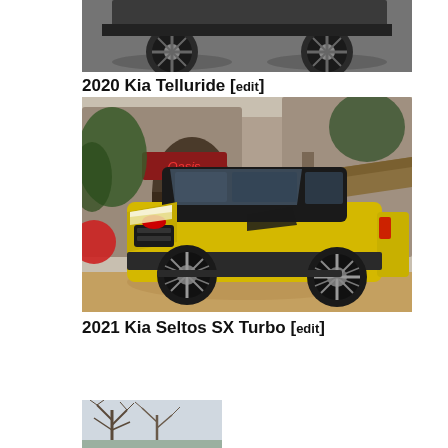[Figure (photo): Cropped bottom portion of a 2020 Kia Telluride SUV showing the lower body and wheels on pavement]
2020 Kia Telluride [edit]
[Figure (photo): 2021 Kia Seltos SX Turbo in yellow, parked in front of a rustic stone building with an 'Oasis' sign, shot in three-quarter front view]
2021 Kia Seltos SX Turbo [edit]
[Figure (photo): Partial view of a third car image at the bottom of the page, showing a vehicle in a winter/bare-tree setting]